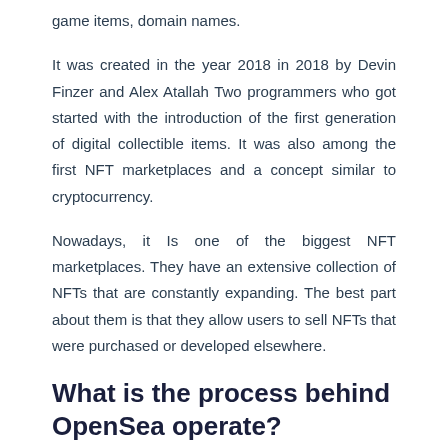game items, domain names.
It was created in the year 2018 in 2018 by Devin Finzer and Alex Atallah Two programmers who got started with the introduction of the first generation of digital collectible items. It was also among the first NFT marketplaces and a concept similar to cryptocurrency.
Nowadays, it Is one of the biggest NFT marketplaces. They have an extensive collection of NFTs that are constantly expanding. The best part about them is that they allow users to sell NFTs that were purchased or developed elsewhere.
What is the process behind OpenSea operate?
If you've ever been selling or buying with cryptocurrency and NFT, you'll notice NFT trading very similar to that.